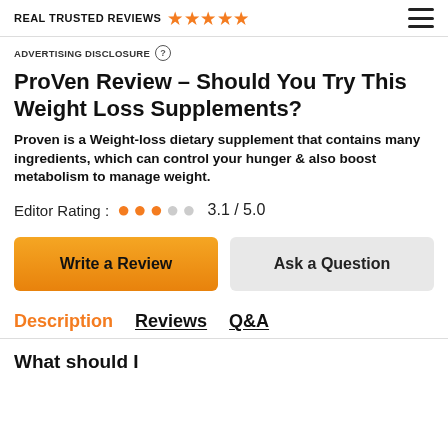REAL TRUSTED REVIEWS ★★★★★
ADVERTISING DISCLOSURE ?
ProVen Review – Should You Try This Weight Loss Supplements?
Proven is a Weight-loss dietary supplement that contains many ingredients, which can control your hunger & also boost metabolism to manage weight.
Editor Rating : 3.1 / 5.0
Write a Review
Ask a Question
Description  Reviews  Q&A
What should I Proven, the brand of it...